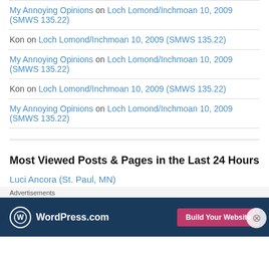My Annoying Opinions on Loch Lomond/Inchmoan 10, 2009 (SMWS 135.22)
Kon on Loch Lomond/Inchmoan 10, 2009 (SMWS 135.22)
My Annoying Opinions on Loch Lomond/Inchmoan 10, 2009 (SMWS 135.22)
Kon on Loch Lomond/Inchmoan 10, 2009 (SMWS 135.22)
My Annoying Opinions on Loch Lomond/Inchmoan 10, 2009 (SMWS 135.22)
Most Viewed Posts & Pages in the Last 24 Hours
Luci Ancora (St. Paul, MN)
Advertisements
[Figure (screenshot): WordPress.com advertisement banner with logo and 'Build Your Website' button]